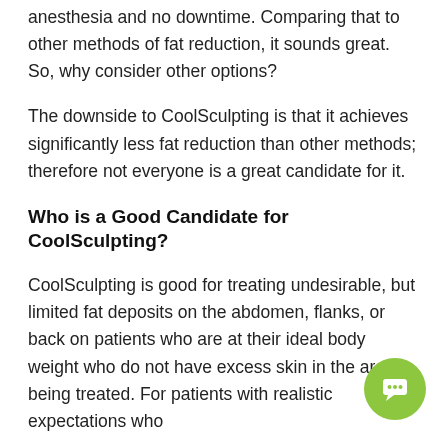anesthesia and no downtime. Comparing that to other methods of fat reduction, it sounds great. So, why consider other options?
The downside to CoolSculpting is that it achieves significantly less fat reduction than other methods; therefore not everyone is a great candidate for it.
Who is a Good Candidate for CoolSculpting?
CoolSculpting is good for treating undesirable, but limited fat deposits on the abdomen, flanks, or back on patients who are at their ideal body weight who do not have excess skin in the area being treated. For patients with realistic expectations who